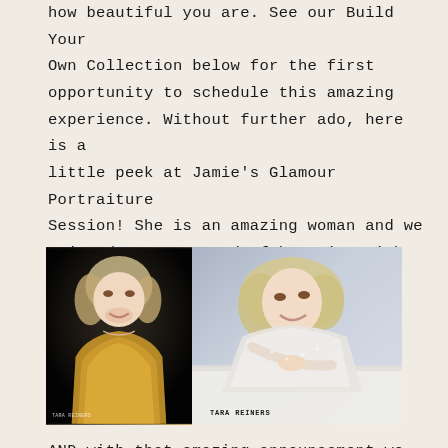how beautiful you are. See our Build Your Own Collection below for the first opportunity to schedule this amazing experience. Without further ado, here is a little peek at Jamie's Glamour Portraiture Session! She is an amazing woman and we enjoyed every second of her time with us!
[Figure (photo): Two glamour portrait photos of a blonde woman side by side. Left photo: black background, woman wearing gold sequin top. Right photo: white/grey background, woman in white lace outfit reclining. Watermark 'TARA REINERS' on right photo.]
AND with that amazing announcement we